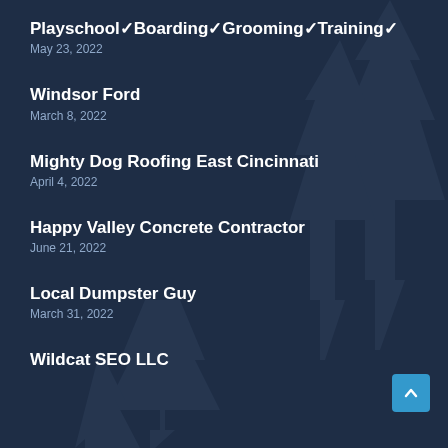Playschool✓Boarding✓Grooming✓Training✓
May 23, 2022
Windsor Ford
March 8, 2022
Mighty Dog Roofing East Cincinnati
April 4, 2022
Happy Valley Concrete Contractor
June 21, 2022
Local Dumpster Guy
March 31, 2022
Wildcat SEO LLC